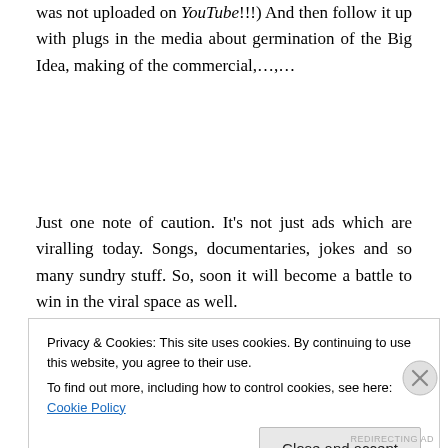was not uploaded on YouTube!!!) And then follow it up with plugs in the media about germination of the Big Idea, making of the commercial,…,…
Just one note of caution. It's not just ads which are viralling today. Songs, documentaries, jokes and so many sundry stuff. So, soon it will become a battle to win in the viral space as well.
Privacy & Cookies: This site uses cookies. By continuing to use this website, you agree to their use.
To find out more, including how to control cookies, see here: Cookie Policy

Close and accept